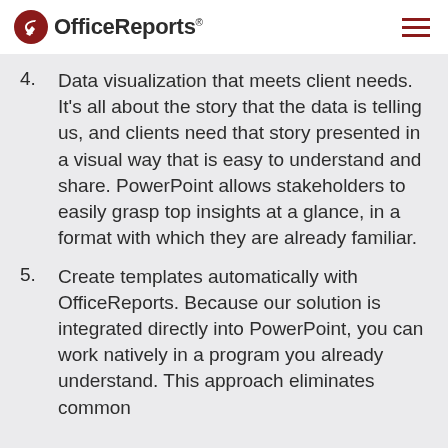OfficeReports®
4. Data visualization that meets client needs. It's all about the story that the data is telling us, and clients need that story presented in a visual way that is easy to understand and share. PowerPoint allows stakeholders to easily grasp top insights at a glance, in a format with which they are already familiar.
5. Create templates automatically with OfficeReports. Because our solution is integrated directly into PowerPoint, you can work natively in a program you already understand. This approach eliminates common